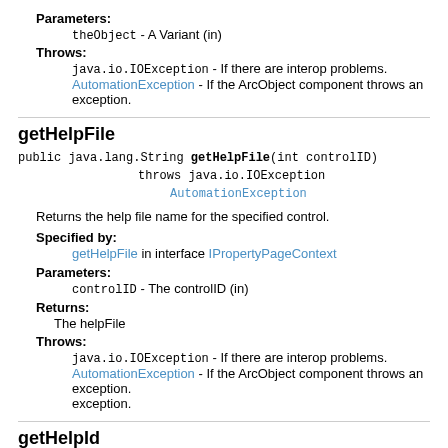Parameters: theObject - A Variant (in)
Throws: java.io.IOException - If there are interop problems. AutomationException - If the ArcObject component throws an exception.
getHelpFile
public java.lang.String getHelpFile(int controlID) throws java.io.IOException AutomationException
Returns the help file name for the specified control.
Specified by: getHelpFile in interface IPropertyPageContext
Parameters: controlID - The controlID (in)
Returns: The helpFile
Throws: java.io.IOException - If there are interop problems. AutomationException - If the ArcObject component throws an exception.
getHelpId